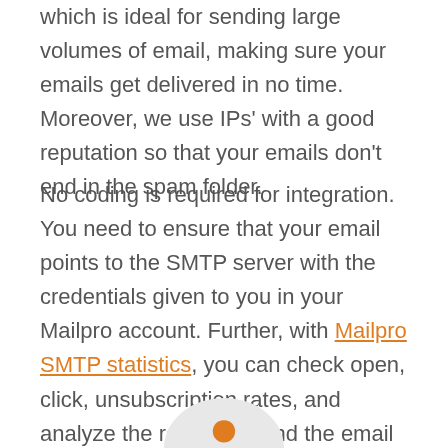which is ideal for sending large volumes of email, making sure your emails get delivered in no time. Moreover, we use IPs' with a good reputation so that your emails don't end in the spam folder.
No coding is required for integration. You need to ensure that your email points to the SMTP server with the credentials given to you in your Mailpro account. Further, with Mailpro SMTP statistics, you can check open, click, unsubscription rates, and analyze the reason behind the email bounced.
[Figure (illustration): Partial view of an orange icon/logo on a light gray circular background, cropped at bottom of page]